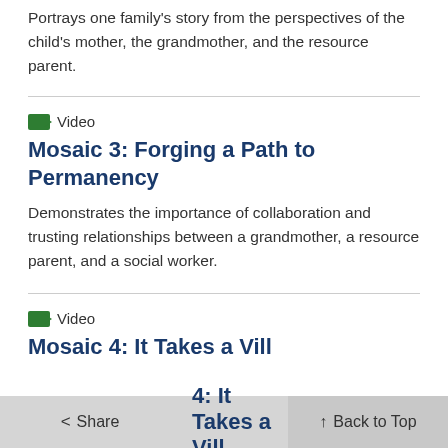Portrays one family's story from the perspectives of the child's mother, the grandmother, and the resource parent.
Video
Mosaic 3: Forging a Path to Permanency
Demonstrates the importance of collaboration and trusting relationships between a grandmother, a resource parent, and a social worker.
Video
Mosaic 4: It Takes a Vill
< Share   Back to Top